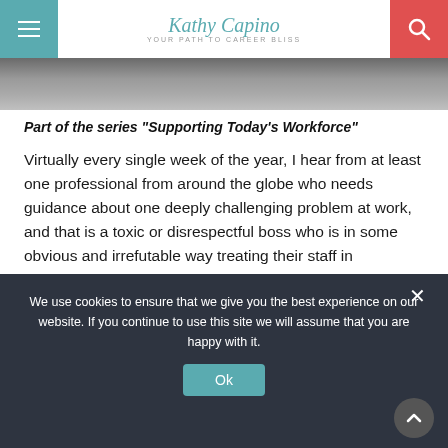Kathy Capino — YOUR PATH TO CAREER BLISS
[Figure (photo): Cropped photo strip showing people in a meeting or workplace setting]
Part of the series "Supporting Today's Workforce"
Virtually every single week of the year, I hear from at least one professional from around the globe who needs guidance about one deeply challenging problem at work, and that is a toxic or disrespectful boss who is in some obvious and irrefutable way treating their staff in demeaning and demoralizing ways.
We use cookies to ensure that we give you the best experience on our website. If you continue to use this site we will assume that you are happy with it.